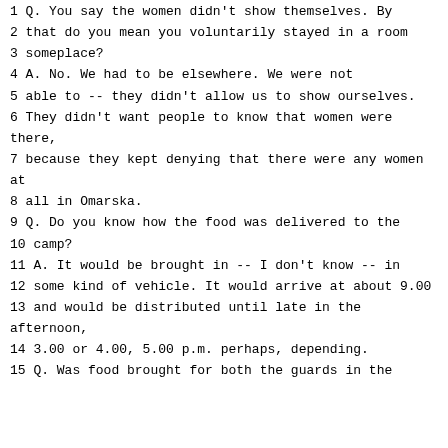1 Q. You say the women didn't show themselves. By that do you mean you voluntarily stayed in a room someplace?
4 A. No. We had to be elsewhere. We were not able to -- they didn't allow us to show ourselves.
6 They didn't want people to know that women were there,
7 because they kept denying that there were any women at
8 all in Omarska.
9 Q. Do you know how the food was delivered to the
10 camp?
11 A. It would be brought in -- I don't know -- in
12 some kind of vehicle. It would arrive at about 9.00
13 and would be distributed until late in the afternoon,
14 3.00 or 4.00, 5.00 p.m. perhaps, depending.
15 Q. Was food brought for both the guards in the